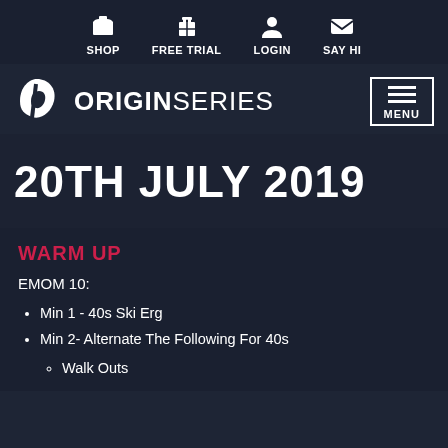SHOP  FREE TRIAL  LOGIN  SAY HI
[Figure (logo): Origin Series logo with stylized O icon and bold/regular text ORIGINSERIES]
20TH JULY 2019
WARM UP
EMOM 10:
Min 1 - 40s Ski Erg
Min 2- Alternate The Following For 40s
Walk Outs